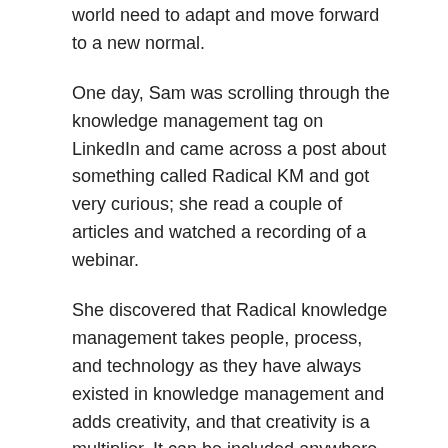world need to adapt and move forward to a new normal.
One day, Sam was scrolling through the knowledge management tag on LinkedIn and came across a post about something called Radical KM and got very curious; she read a couple of articles and watched a recording of a webinar.
She discovered that Radical knowledge management takes people, process, and technology as they have always existed in knowledge management and adds creativity, and that creativity is a multiplier. It can be included anywhere there are knowledge management activities that involve people, which is most of them.
She learned about an organisation that had implemented the ideas encapsulated in Radical KM. The organisation had improved collaboration and trust, and they had been able to solve what had seemed to be intractable